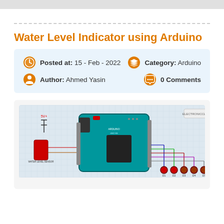Water Level Indicator using Arduino
Posted at: 15 - Feb - 2022  Category: Arduino  Author: Ahmed Yasin  0 Comments
[Figure (engineering-diagram): Arduino circuit diagram for water level indicator showing an Arduino UNO board connected to multiple LEDs (D1-D5) and a sensor, with wiring connections on a grid background.]